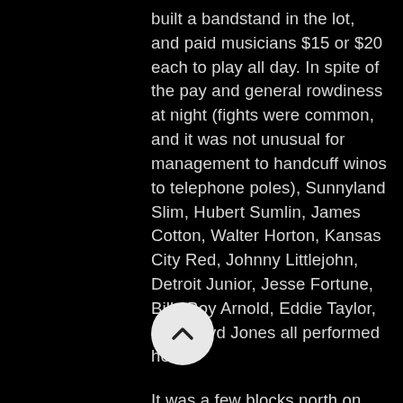built a bandstand in the lot, and paid musicians $15 or $20 each to play all day. In spite of the pay and general rowdiness at night (fights were common, and it was not unusual for management to handcuff winos to telephone poles), Sunnyland Slim, Hubert Sumlin, James Cotton, Walter Horton, Kansas City Red, Johnny Littlejohn, Detroit Junior, Jesse Fortune, Billy Boy Arnold, Eddie Taylor, and Floyd Jones all performed here.
It was a few blocks north on Kedzie to Lake Street, site of Jake's Tavern. "There was an alley right here on the side of Kedzie where this [parking] lot is," Jimmie said. "Right here in the 1200 block on the west